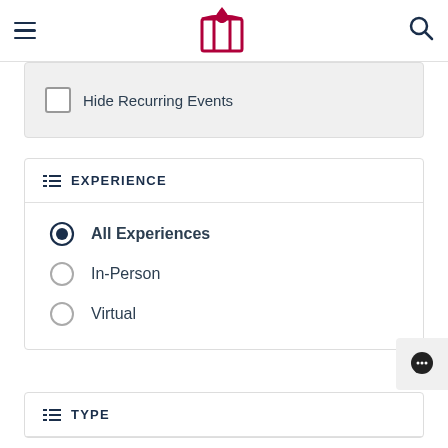Navigation header with hamburger menu, logo, and search icon
Hide Recurring Events (checkbox, unchecked)
EXPERIENCE
All Experiences (selected radio button)
In-Person (radio button)
Virtual (radio button)
TYPE